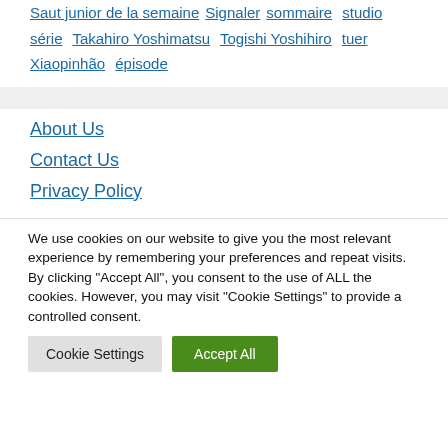Saut junior de la semaine  Signaler  sommaire  studio  série  Takahiro Yoshimatsu  Togishi Yoshihiro  tuer  Xiaopinhão  épisode
About Us
Contact Us
Privacy Policy
We use cookies on our website to give you the most relevant experience by remembering your preferences and repeat visits. By clicking "Accept All", you consent to the use of ALL the cookies. However, you may visit "Cookie Settings" to provide a controlled consent.
Cookie Settings  Accept All